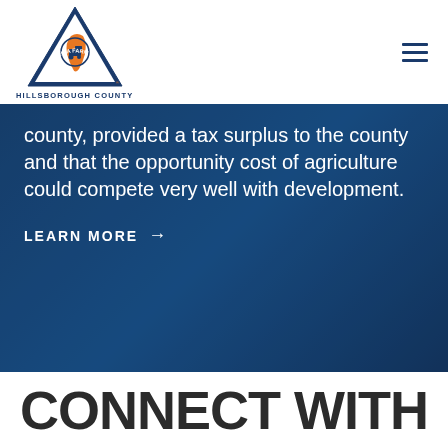[Figure (logo): Florida Farm Bureau Hillsborough County triangular logo with orange tractor and Florida state map, blue triangle border, text HILLSBOROUGH COUNTY below]
[Figure (other): Hamburger menu icon (three horizontal navy lines) in top right corner]
county, provided a tax surplus to the county and that the opportunity cost of agriculture could compete very well with development.
Learn More →
CONNECT WITH